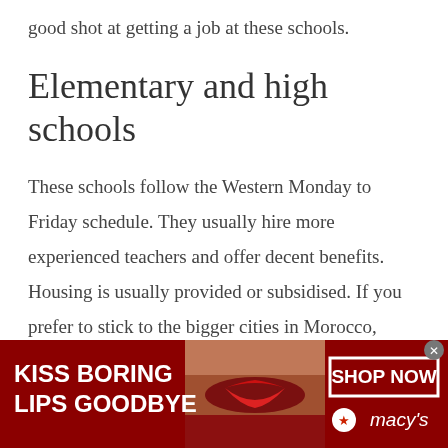good shot at getting a job at these schools.
Elementary and high schools
These schools follow the Western Monday to Friday schedule. They usually hire more experienced teachers and offer decent benefits. Housing is usually provided or subsidised. If you prefer to stick to the bigger cities in Morocco, elementary and high schools are a great option.
Universities
[Figure (infographic): Advertisement banner for Macy's lipstick promotion. Red background with bold white text 'KISS BORING LIPS GOODBYE' on the left, a woman's face with red lips in the center, and a white-bordered 'SHOP NOW' button with Macy's star logo on the right.]